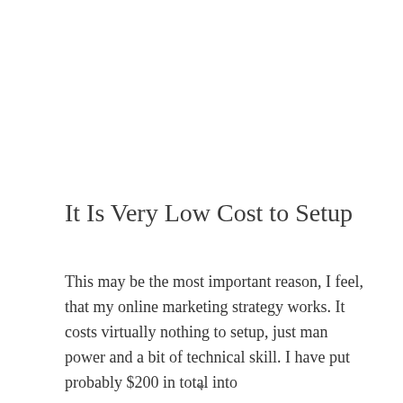It Is Very Low Cost to Setup
This may be the most important reason, I feel, that my online marketing strategy works. It costs virtually nothing to setup, just man power and a bit of technical skill. I have put probably $200 in total into
v